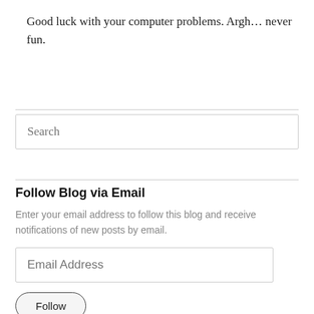Good luck with your computer problems. Argh… never fun.
Search
Follow Blog via Email
Enter your email address to follow this blog and receive notifications of new posts by email.
Email Address
Follow